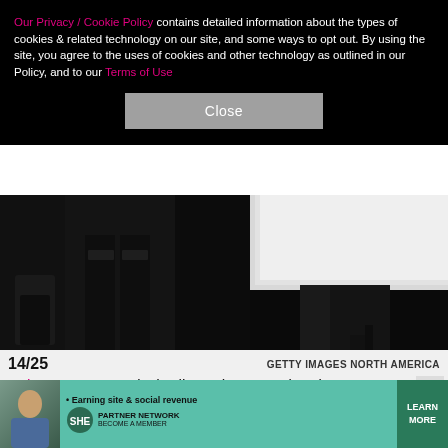Our Privacy / Cookie Policy contains detailed information about the types of cookies & related technology on our site, and some ways to opt out. By using the site, you agree to the uses of cookies and other technology as outlined in our Policy, and to our Terms of Use
[Figure (photo): Dark photo showing lower halves of people walking — person in ripped black jeans and person in white skirt/dress with dark heels]
14/25    GETTY IMAGES NORTH AMERICA
Selena Gomez and Charlie Puth "never dated." a
[Figure (infographic): SHE Partner Network advertisement banner: Earning site & social revenue, LEARN MORE, BECOME A MEMBER]